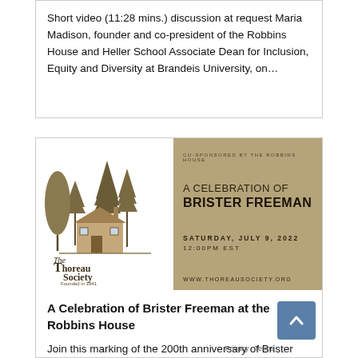Short video (11:28 mins.) discussion at request Maria Madison, founder and co-president of the Robbins House and Heller School Associate Dean for Inclusion, Equity and Diversity at Brandeis University, on...
[Figure (other): Event banner for 'A Celebration of Brister Freeman' co-sponsored by the Robbins House. Left side shows The Thoreau Society logo with an illustration of a cabin and trees, founded in 1941. Right side on tan/brown background shows event details.]
A Celebration of Brister Freeman at the Robbins House
Join this marking of the 200th anniversary of Brister Freeman's Death Maria Madison Welcoming Remarks